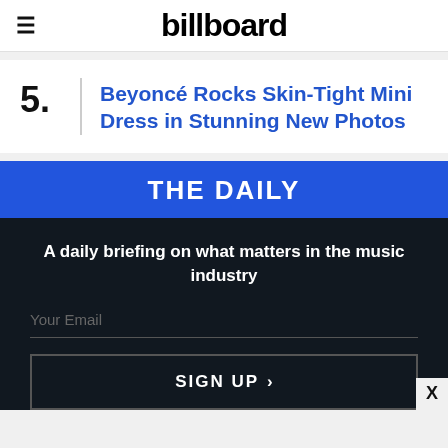billboard
5. Beyoncé Rocks Skin-Tight Mini Dress in Stunning New Photos
THE DAILY
A daily briefing on what matters in the music industry
Your Email
SIGN UP >